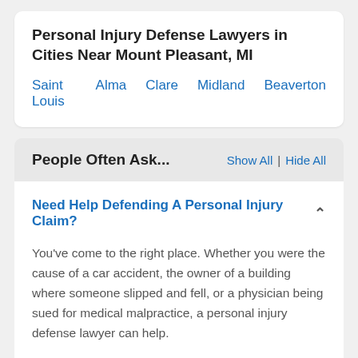Personal Injury Defense Lawyers in Cities Near Mount Pleasant, MI
Saint Louis
Alma
Clare
Midland
Beaverton
People Often Ask...
Need Help Defending A Personal Injury Claim?
You've come to the right place. Whether you were the cause of a car accident, the owner of a building where someone slipped and fell, or a physician being sued for medical malpractice, a personal injury defense lawyer can help.
A personal injury defense lawyer can work with